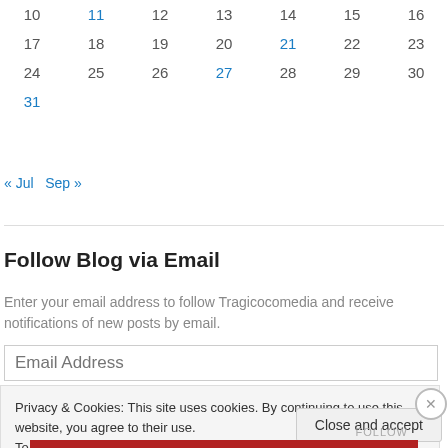| 10 | 11 | 12 | 13 | 14 | 15 | 16 |
| 17 | 18 | 19 | 20 | 21 | 22 | 23 |
| 24 | 25 | 26 | 27 | 28 | 29 | 30 |
| 31 |  |  |  |  |  |  |
« Jul   Sep »
Follow Blog via Email
Enter your email address to follow Tragicocomedia and receive notifications of new posts by email.
Email Address
Privacy & Cookies: This site uses cookies. By continuing to use this website, you agree to their use.
To find out more, including how to control cookies, see here: Cookie Policy
Close and accept